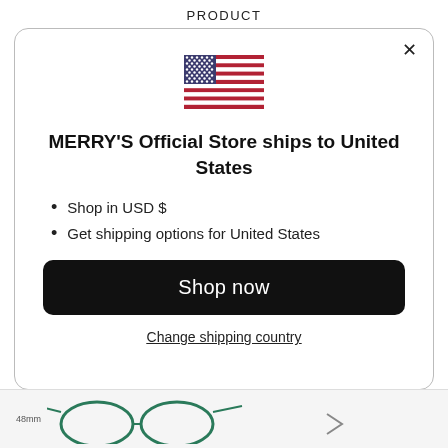PRODUCT
[Figure (illustration): US flag SVG illustration centered in modal]
MERRY'S Official Store ships to United States
Shop in USD $
Get shipping options for United States
Shop now
Change shipping country
[Figure (photo): Bottom portion of product page showing eyeglasses thumbnails with '48mm' size label visible]